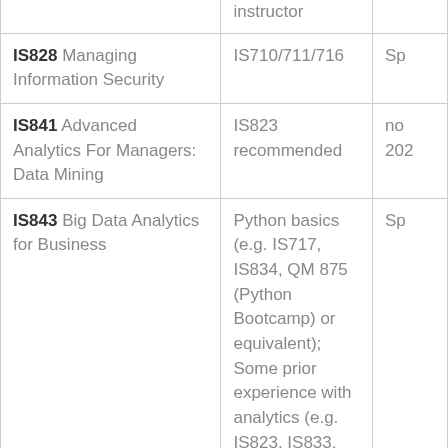| Course | Prerequisites | Term |
| --- | --- | --- |
|  | instructor |  |
| IS828 Managing Information Security | IS710/711/716 | Sp |
| IS841 Advanced Analytics For Managers: Data Mining | IS823 recommended | no 202 |
| IS843 Big Data Analytics for Business | Python basics (e.g. IS717, IS834, QM 875 (Python Bootcamp) or equivalent); Some prior experience with analytics (e.g. IS823, IS833, IS834, IS841, MK843, MK873... | Sp |